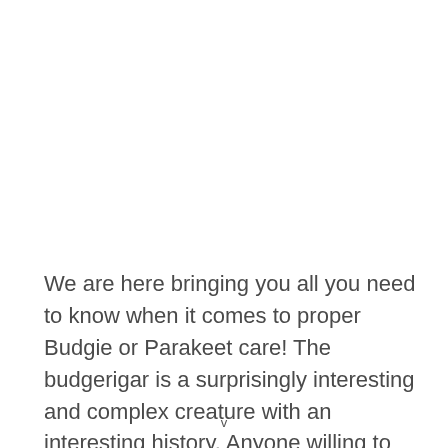We are here bringing you all you need to know when it comes to proper Budgie or Parakeet care! The budgerigar is a surprisingly interesting and complex creature with an interesting history. Anyone willing to learn about these little birds and their care should be able
v